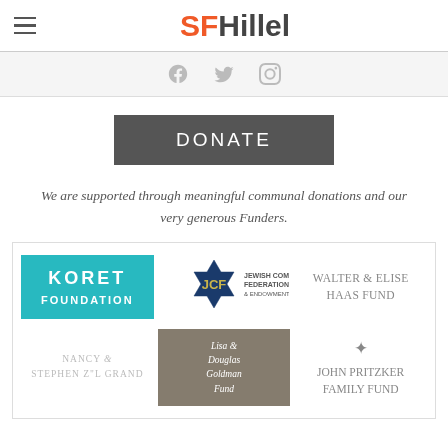SF Hillel
[Figure (infographic): Social media icons: Facebook, Twitter, Instagram in gray]
[Figure (infographic): DONATE button in dark gray]
We are supported through meaningful communal donations and our very generous Funders.
[Figure (logo): Koret Foundation logo - teal background with white text]
[Figure (logo): JCF Jewish Community Federation & Endowment Fund logo]
[Figure (logo): Walter & Elise Haas Fund logo in gray text]
[Figure (logo): Nancy & Stephen Z'l Grand logo in light gray text]
[Figure (logo): Lisa & Douglas Goldman Fund logo on taupe background]
[Figure (logo): John Pritzker Family Fund logo with star icon]